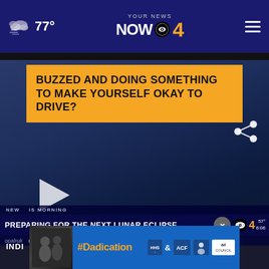77° YOUR NEWS NOW CBS 4
BUZZED AND DOING SOMETHING TO MAKE YOURSELF OKAY TO DRIVE?
[Figure (screenshot): Dark blue video player area with play button and share icon, showing news broadcast]
NEW THIS MORNING — PREPARING FOR THE NEXT LUNAR ECLIPSE
[Figure (screenshot): Ad banner: #Dadication with ACF and Ad Council logos]